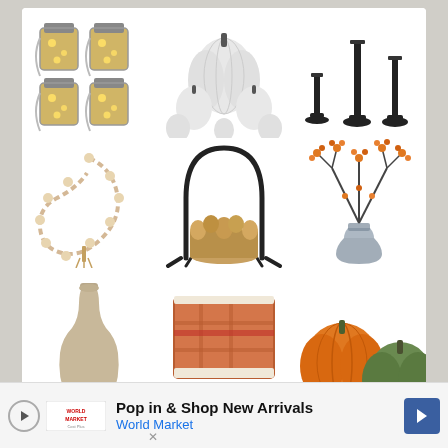[Figure (photo): 3x3 product grid of home decor items: (row1) mason jar fairy lights x4, white decorative pumpkins set, black taper candlestick holders set of 3; (row2) wooden bead garland with tassels, circular black metal firewood log holder with logs, orange berry branches in gray glass vase; (row3, partial) ceramic vase, orange/red plaid throw blanket, orange and green pumpkins]
Pop in & Shop New Arrivals
World Market